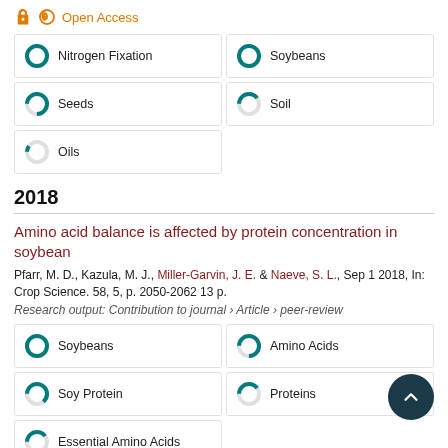[Figure (other): Open Access orange lock icon with text 'Open Access']
Nitrogen Fixation (100% donut)
Soybeans (100% donut)
Seeds (75% donut)
Soil (40% donut)
Oils (10% donut)
2018
Amino acid balance is affected by protein concentration in soybean
Pfarr, M. D., Kazula, M. J., Miller-Garvin, J. E. & Naeve, S. L., Sep 1 2018, In: Crop Science. 58, 5, p. 2050-2062 13 p.
Research output: Contribution to journal › Article › peer-review
Soybeans (100% donut)
Amino Acids (75% donut)
Soy Protein (65% donut)
Proteins (40% donut)
Essential Amino Acids (40% donut)